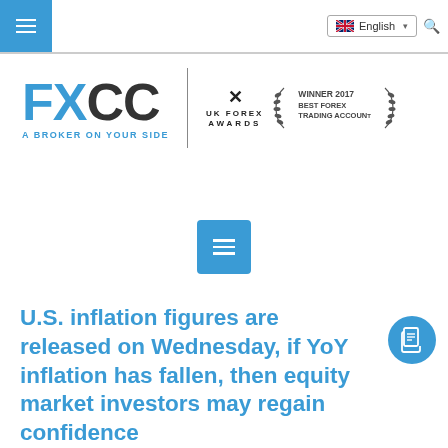English
[Figure (logo): FXCC logo with text 'A BROKER ON YOUR SIDE', UK Forex Awards logo, and Winner 2017 Best Forex Trading Account badge]
[Figure (other): Blue hamburger menu button (three horizontal white lines on blue square background)]
U.S. inflation figures are released on Wednesday, if YoY inflation has fallen, then equity market investors may regain confidence